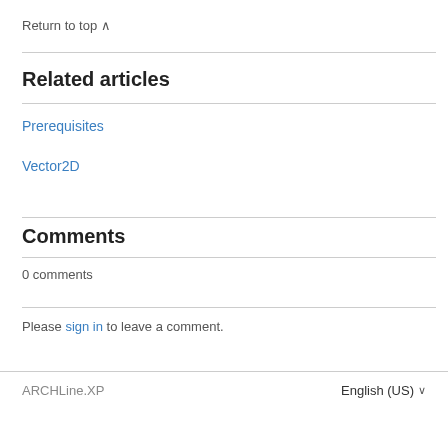Return to top ∧
Related articles
Prerequisites
Vector2D
Comments
0 comments
Please sign in to leave a comment.
ARCHLine.XP    English (US) ∨